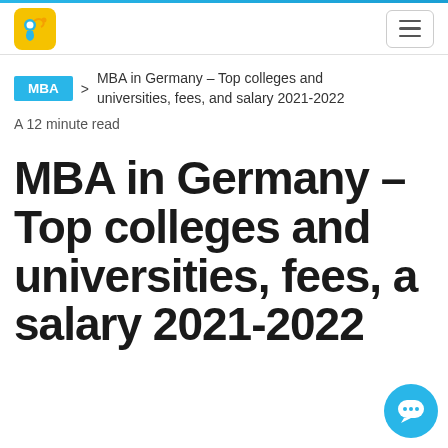MBA | MBA in Germany – Top colleges and universities, fees, and salary 2021-2022
A 12 minute read
MBA in Germany – Top colleges and universities, fees, and salary 2021-2022